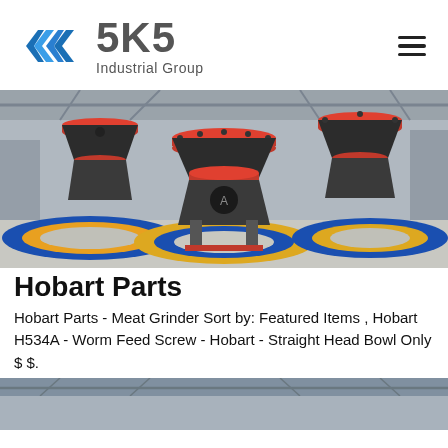[Figure (logo): SKS Industrial Group logo with blue angular S-shaped icon and gray text]
[Figure (photo): Industrial cone crusher machines on factory floor with colorful circular bases (blue, yellow, red)]
Hobart Parts
Hobart Parts - Meat Grinder Sort by: Featured Items , Hobart H534A - Worm Feed Screw - Hobart - Straight Head Bowl Only $ $.
[Figure (photo): Partial view of industrial facility interior, bottom of page]